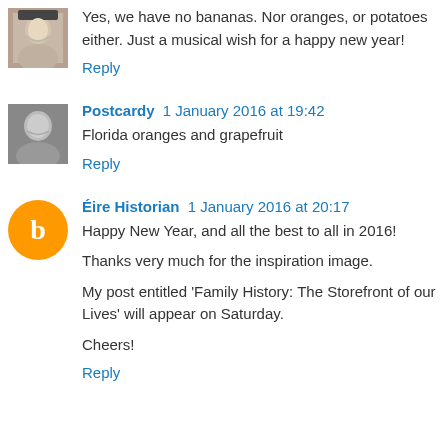Yes, we have no bananas. Nor oranges, or potatoes either. Just a musical wish for a happy new year!
Reply
Postcardy 1 January 2016 at 19:42
Florida oranges and grapefruit
Reply
Éire Historian 1 January 2016 at 20:17
Happy New Year, and all the best to all in 2016!
Thanks very much for the inspiration image.
My post entitled 'Family History: The Storefront of our Lives' will appear on Saturday.
Cheers!
Reply